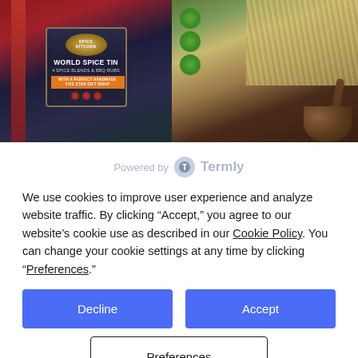[Figure (photo): Photo showing a World Spice Tin product box on the left with a dark navy/gold label reading 'WORLD SPICE TIN - 4 SPICE BLENDS & BBQ RUBS' with an orange band, red decorative ribbon, and red ornament-like dots. On the right is a wooden mortar and pestle, green circular labels/stickers, and straw packing material in a gift basket.]
Powered by Termly
We use cookies to improve user experience and analyze website traffic. By clicking “Accept,” you agree to our website’s cookie use as described in our Cookie Policy. You can change your cookie settings at any time by clicking “Preferences.”
Decline
Accept
Preferences